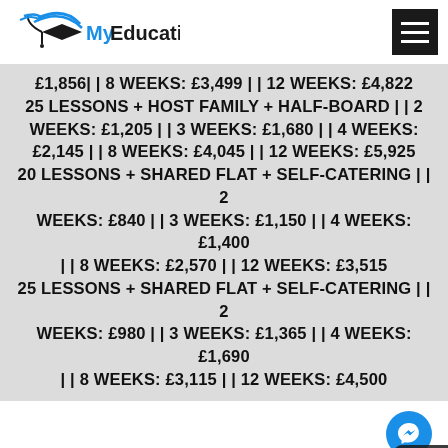MyEducation
£1,856| | 8 WEEKS: £3,499 | | 12 WEEKS: £4,822 25 LESSONS + HOST FAMILY + HALF-BOARD | | 2 WEEKS: £1,205 | | 3 WEEKS: £1,680 | | 4 WEEKS: £2,145 | | 8 WEEKS: £4,045 | | 12 WEEKS: £5,925 20 LESSONS + SHARED FLAT + SELF-CATERING | | 2 WEEKS: £840 | | 3 WEEKS: £1,150 | | 4 WEEKS: £1,400 | | 8 WEEKS: £2,570 | | 12 WEEKS: £3,515 25 LESSONS + SHARED FLAT + SELF-CATERING | | 2 WEEKS: £980 | | 3 WEEKS: £1,365 | | 4 WEEKS: £1,690 | | 8 WEEKS: £3,115 | | 12 WEEKS: £4,500